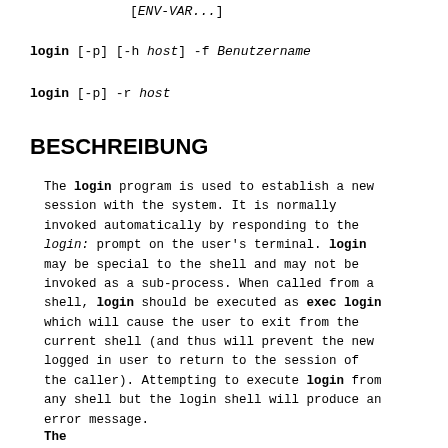[ENV-VAR...]
login [-p] [-h host] -f Benutzername
login [-p] -r host
BESCHREIBUNG
The login program is used to establish a new session with the system. It is normally invoked automatically by responding to the login: prompt on the user's terminal. login may be special to the shell and may not be invoked as a sub-process. When called from a shell, login should be executed as exec login which will cause the user to exit from the current shell (and thus will prevent the new logged in user to return to the session of the caller). Attempting to execute login from any shell but the login shell will produce an error message.
The...